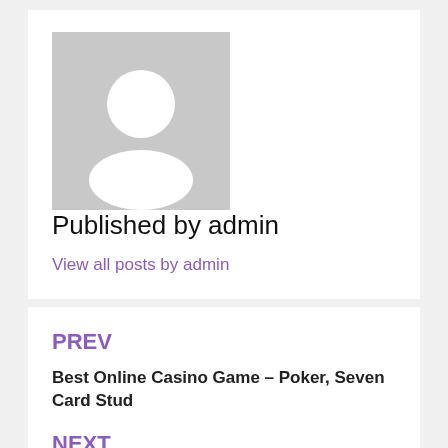[Figure (illustration): Generic user avatar placeholder image — gray background with white silhouette of a person]
Published by admin
View all posts by admin
PREV
Best Online Casino Game – Poker, Seven Card Stud
NEXT
Vip Slots Online Casino Review
domino99